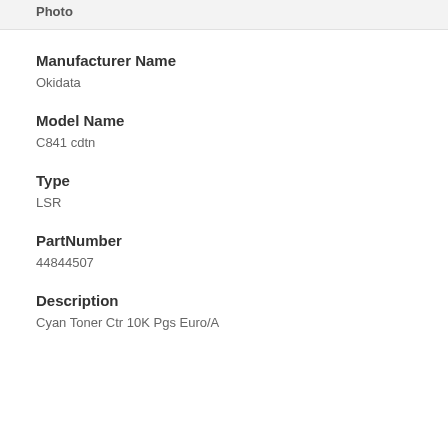Photo
Manufacturer Name
Okidata
Model Name
C841 cdtn
Type
LSR
PartNumber
44844507
Description
Cyan Toner Ctr 10K Pgs Euro/A